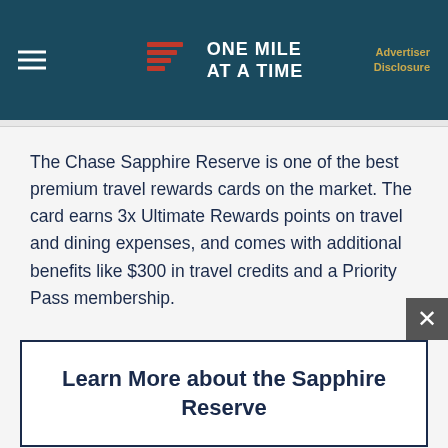ONE MILE AT A TIME | Advertiser Disclosure
The Chase Sapphire Reserve is one of the best premium travel rewards cards on the market. The card earns 3x Ultimate Rewards points on travel and dining expenses, and comes with additional benefits like $300 in travel credits and a Priority Pass membership.
Learn More about the Sapphire Reserve